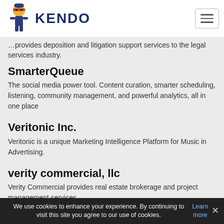KENDO
...provides deposition and litigation support services to the legal services industry.
SmarterQueue
The social media power tool. Content curation, smarter scheduling, listening, community management, and powerful analytics, all in one place
Veritonic Inc.
Veritonic is a unique Marketing Intelligence Platform for Music in Advertising.
verity commercial, llc
Verity Commercial provides real estate brokerage and project management services.
smarterservices
We use cookies to enhance your experience. By continuing to visit this site you agree to our use of cookies. Learn more